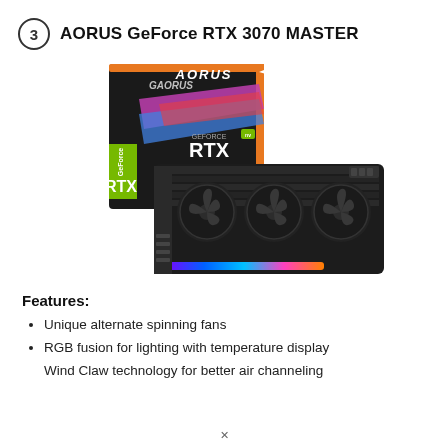3  AORUS GeForce RTX 3070 MASTER
[Figure (photo): Product photo of the AORUS GeForce RTX 3070 MASTER graphics card shown alongside its retail box. The box features colorful RGB-styled artwork with the AORUS and GeForce RTX branding. The card itself is a large black triple-fan GPU with RGB lighting strip along the bottom edge.]
Features:
Unique alternate spinning fans
RGB fusion for lighting with temperature display
Wind Claw technology for better air channeling